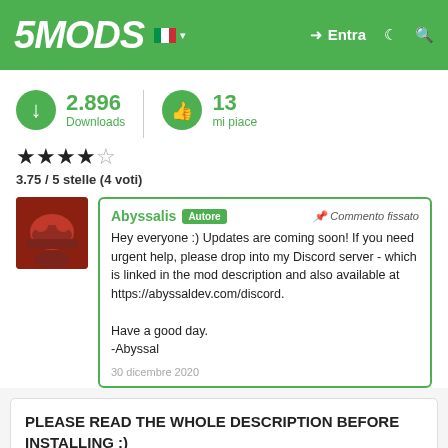5MODS | Entra
2.896 Downloads | 13 mi piace
3.75 / 5 stelle (4 voti)
Abyssalis Autore — Commento fissato
Hey everyone :) Updates are coming soon! If you need urgent help, please drop into my Discord server - which is linked in the mod description and also available at https://abyssaldev.com/discord.

Have a good day.
-Abyssal

30 dicembre 2020
PLEASE READ THE WHOLE DESCRIPTION BEFORE INSTALLING :)